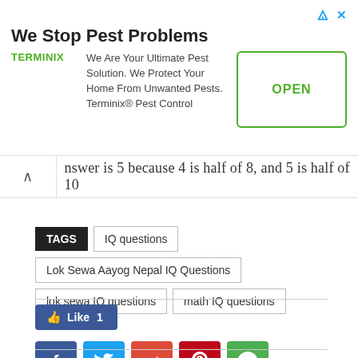[Figure (other): Terminix advertisement banner: 'We Stop Pest Problems' with logo, body text 'We Are Your Ultimate Pest Solution. We Protect Your Home From Unwanted Pests. Terminix® Pest Control' and an OPEN button]
nswer is 5 because 4 is half of 8, and 5 is half of 10
TAGS  IQ questions  Lok Sewa Aayog Nepal IQ Questions  lok sewa IQ questions  math IQ questions
[Figure (other): Social sharing buttons: Like 1 (Facebook), Facebook, Twitter, Google+, Pinterest, WhatsApp icons]